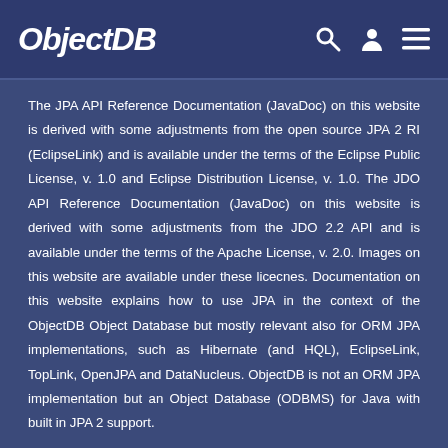ObjectDB
The JPA API Reference Documentation (JavaDoc) on this website is derived with some adjustments from the open source JPA 2 RI (EclipseLink) and is available under the terms of the Eclipse Public License, v. 1.0 and Eclipse Distribution License, v. 1.0. The JDO API Reference Documentation (JavaDoc) on this website is derived with some adjustments from the JDO 2.2 API and is available under the terms of the Apache License, v. 2.0. Images on this website are available under these licecnes. Documentation on this website explains how to use JPA in the context of the ObjectDB Object Database but mostly relevant also for ORM JPA implementations, such as Hibernate (and HQL), EclipseLink, TopLink, OpenJPA and DataNucleus. ObjectDB is not an ORM JPA implementation but an Object Database (ODBMS) for Java with built in JPA 2 support.